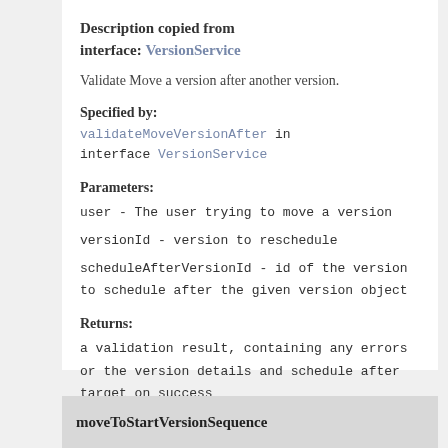Description copied from interface: VersionService
Validate Move a version after another version.
Specified by:
validateMoveVersionAfter in interface VersionService
Parameters:
user - The user trying to move a version
versionId - version to reschedule
scheduleAfterVersionId - id of the version to schedule after the given version object
Returns:
a validation result, containing any errors or the version details and schedule after target on success
moveToStartVersionSequence